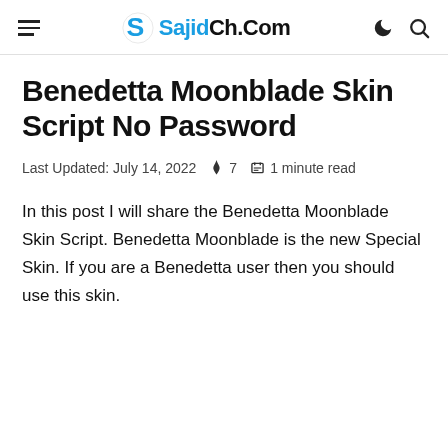SajidCh.Com
Benedetta Moonblade Skin Script No Password
Last Updated: July 14, 2022  🔥 7  📋 1 minute read
In this post I will share the Benedetta Moonblade Skin Script. Benedetta Moonblade is the new Special Skin. If you are a Benedetta user then you should use this skin.